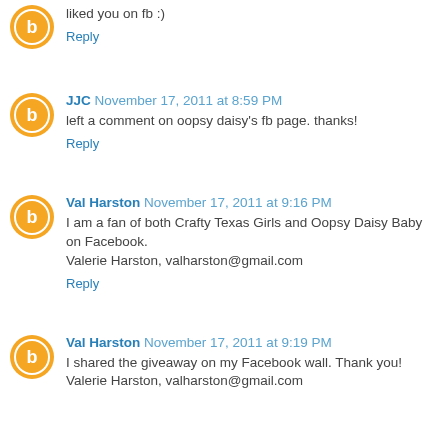liked you on fb :)
Reply
JJC November 17, 2011 at 8:59 PM
left a comment on oopsy daisy's fb page. thanks!
Reply
Val Harston November 17, 2011 at 9:16 PM
I am a fan of both Crafty Texas Girls and Oopsy Daisy Baby on Facebook.
Valerie Harston, valharston@gmail.com
Reply
Val Harston November 17, 2011 at 9:19 PM
I shared the giveaway on my Facebook wall. Thank you!
Valerie Harston, valharston@gmail.com